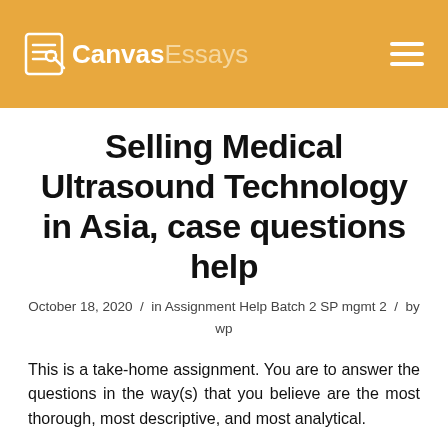Canvas Essays
Selling Medical Ultrasound Technology in Asia, case questions help
October 18, 2020  /  in Assignment Help Batch 2 SP mgmt 2  /  by wp
This is a take-home assignment. You are to answer the questions in the way(s) that you believe are the most thorough, most descriptive, and most analytical.